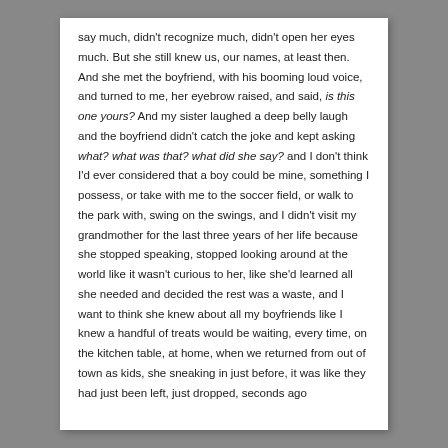say much, didn't recognize much, didn't open her eyes much. But she still knew us, our names, at least then. And she met the boyfriend, with his booming loud voice, and turned to me, her eyebrow raised, and said, is this one yours? And my sister laughed a deep belly laugh and the boyfriend didn't catch the joke and kept asking what? what was that? what did she say? and I don't think I'd ever considered that a boy could be mine, something I possess, or take with me to the soccer field, or walk to the park with, swing on the swings, and I didn't visit my grandmother for the last three years of her life because she stopped speaking, stopped looking around at the world like it wasn't curious to her, like she'd learned all she needed and decided the rest was a waste, and I want to think she knew about all my boyfriends like I knew a handful of treats would be waiting, every time, on the kitchen table, at home, when we returned from out of town as kids, she sneaking in just before, it was like they had just been left, just dropped, seconds ago